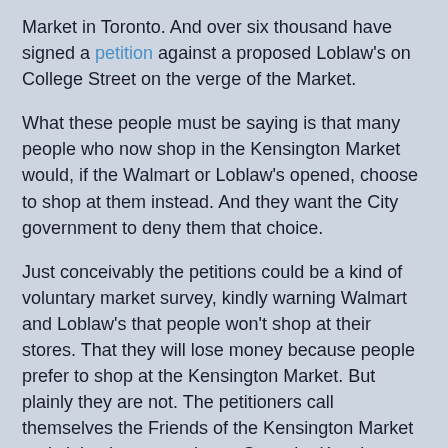Market in Toronto. And over six thousand have signed a petition against a proposed Loblaw's on College Street on the verge of the Market.
What these people must be saying is that many people who now shop in the Kensington Market would, if the Walmart or Loblaw's opened, choose to shop at them instead. And they want the City government to deny them that choice.
Just conceivably the petitions could be a kind of voluntary market survey, kindly warning Walmart and Loblaw's that people won't shop at their stores. That they will lose money because people prefer to shop at the Kensington Market. But plainly they are not. The petitioners call themselves the Friends of the Kensington Market and claim they are trying to Save the Kensington Market. The big corporations and their big stores are the baddies. And the retailers of Kensington Market are the good guys.
What are they up to then? If they are a statistically significant sample of people who regularly shop at the Kensington Market, they have nothing to worry about. Unless they own